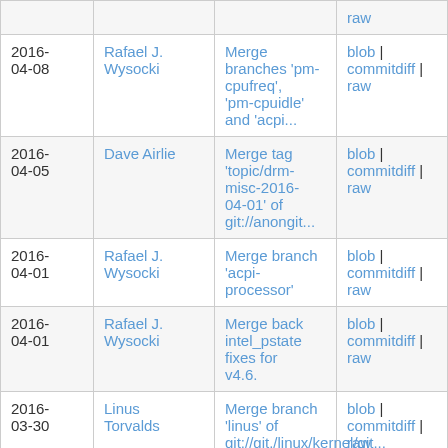| Date | Author | Message | Actions |
| --- | --- | --- | --- |
|  |  |  | raw |
| 2016-04-08 | Rafael J. Wysocki | Merge branches 'pm-cpufreq', 'pm-cpuidle' and 'acpi... | blob | commitdiff | raw |
| 2016-04-05 | Dave Airlie | Merge tag 'topic/drm-misc-2016-04-01' of git://anongit... | blob | commitdiff | raw |
| 2016-04-01 | Rafael J. Wysocki | Merge branch 'acpi-processor' | blob | commitdiff | raw |
| 2016-04-01 | Rafael J. Wysocki | Merge back intel_pstate fixes for v4.6. | blob | commitdiff | raw |
| 2016-03-30 | Linus Torvalds | Merge branch 'linus' of git://git./linux/kernel/git... | blob | commitdiff | raw |
| 2016-03-30 | Tony Lindgren | Merge tag 'for-v4.6-rc/omap-fixes-a' of git://git.... | blob | commitdiff | raw |
| 2016- | Stephen | Merge tag 'bcm2835-clk-next- | blob | |